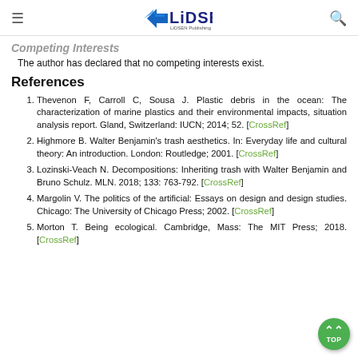LIDSEN Publishing Inc.
Competing Interests
The author has declared that no competing interests exist.
References
Thevenon F, Carroll C, Sousa J. Plastic debris in the ocean: The characterization of marine plastics and their environmental impacts, situation analysis report. Gland, Switzerland: IUCN; 2014; 52. [CrossRef]
Highmore B. Walter Benjamin's trash aesthetics. In: Everyday life and cultural theory: An introduction. London: Routledge; 2001. [CrossRef]
Lozinski-Veach N. Decompositions: Inheriting trash with Walter Benjamin and Bruno Schulz. MLN. 2018; 133: 763-792. [CrossRef]
Margolin V. The politics of the artificial: Essays on design and design studies. Chicago: The University of Chicago Press; 2002. [CrossRef]
Morton T. Being ecological. Cambridge, Mass: The MIT Press; 2018. [CrossRef]